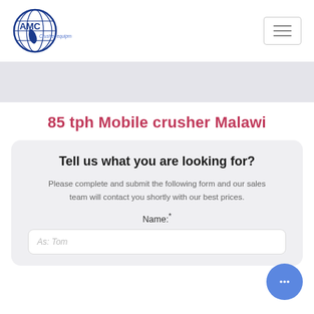[Figure (logo): AMC Crusher equipment globe logo with blue circle and continents, company name AMC in blue letters, tagline Crusher equipment]
85 tph Mobile crusher Malawi
Tell us what you are looking for?
Please complete and submit the following form and our sales team will contact you shortly with our best prices.
Name:*